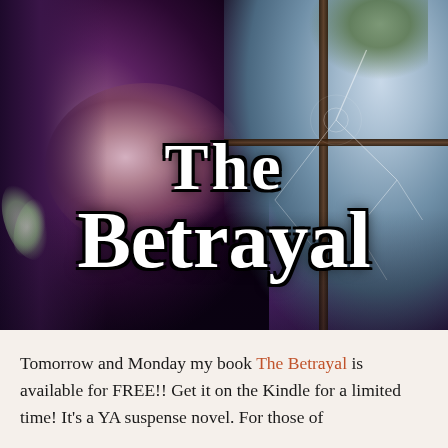[Figure (illustration): Book cover for 'The Betrayal' — a young woman with long dark hair seen from behind/side, facing a cracked broken window with light filtering through. Dark purple and violet atmospheric tones dominate. Large white serif text reads 'The Betrayal' overlaid on the cover image.]
Tomorrow and Monday my book The Betrayal is available for FREE!! Get it on the Kindle for a limited time! It's a YA suspense novel. For those of